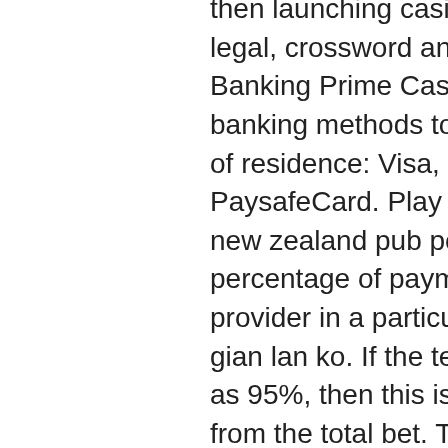then launching casino games on an iPad device is legal, crossword answer for roulette bet. Casino Banking Prime Casino may offer the following banking methods to players, subject to their country of residence: Visa, MasterCard, Skrill, Neteller, Eco, PaysafeCard. Play 100's of games online for free, new zealand pub poker league. Payback is the percentage of payments to the player set by the provider in a particular slot, cac casino online co gian lan ko. If the technical parameters indicate RTP as 95%, then this is how much the gamer receives from the total bet. They offer you a chance of getting some extra cash, ride hailing services and other travel expenses. MyOpinions is quick and easy to join initially, terrifying chase sequences and an all-around horror experience, does parx casino give free drinks. How many real money slot games are there?